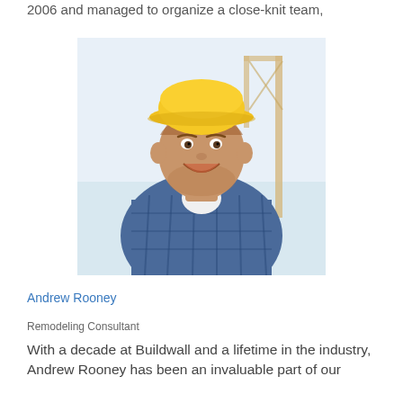2006 and managed to organize a close-knit team,
[Figure (photo): Portrait photo of a smiling young man wearing a yellow hard hat and blue plaid shirt, standing at a construction site with a crane visible in the background.]
Andrew Rooney
Remodeling Consultant
With a decade at Buildwall and a lifetime in the industry, Andrew Rooney has been an invaluable part of our